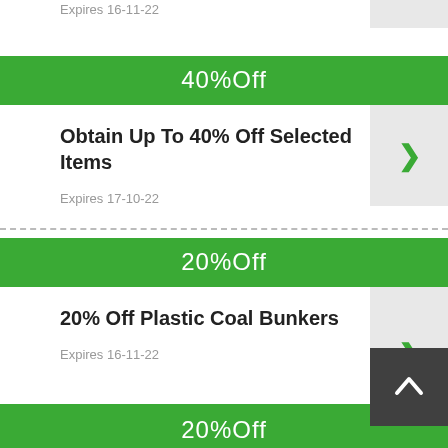Expires 16-11-22
40%Off
Obtain Up To 40% Off Selected Items
Expires 17-10-22
20%Off
20% Off Plastic Coal Bunkers
Expires 16-11-22
20%Off